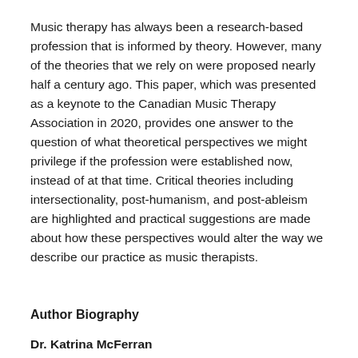Music therapy has always been a research-based profession that is informed by theory. However, many of the theories that we rely on were proposed nearly half a century ago. This paper, which was presented as a keynote to the Canadian Music Therapy Association in 2020, provides one answer to the question of what theoretical perspectives we might privilege if the profession were established now, instead of at that time. Critical theories including intersectionality, post-humanism, and post-ableism are highlighted and practical suggestions are made about how these perspectives would alter the way we describe our practice as music therapists.
Author Biography
Dr. Katrina McFerran
Katrina McFerran is Professor and Director of Research Training